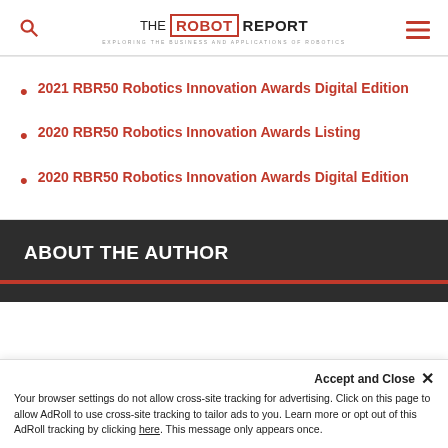THE ROBOT REPORT — EXPLORING THE BUSINESS AND APPLICATIONS OF ROBOTICS
2021 RBR50 Robotics Innovation Awards Digital Edition
2020 RBR50 Robotics Innovation Awards Listing
2020 RBR50 Robotics Innovation Awards Digital Edition
ABOUT THE AUTHOR
Accept and Close ×
Your browser settings do not allow cross-site tracking for advertising. Click on this page to allow AdRoll to use cross-site tracking to tailor ads to you. Learn more or opt out of this AdRoll tracking by clicking here. This message only appears once.